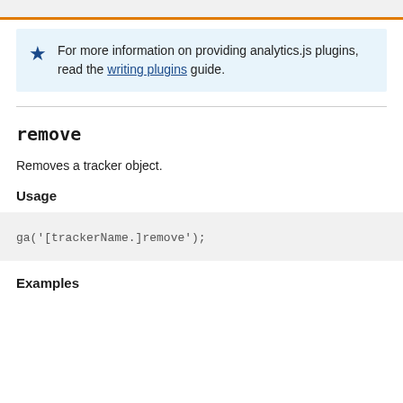For more information on providing analytics.js plugins, read the writing plugins guide.
remove
Removes a tracker object.
Usage
ga('[trackerName.]remove');
Examples